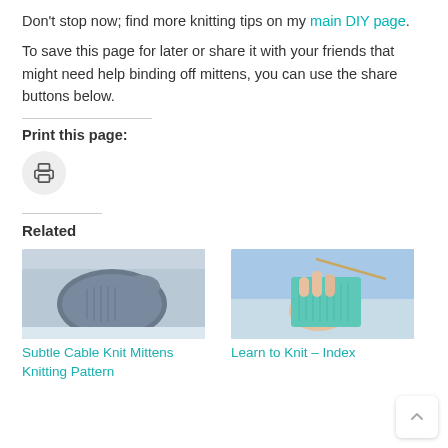Don't stop now; find more knitting tips on my main DIY page.
To save this page for later or share it with your friends that might need help binding off mittens, you can use the share buttons below.
Print this page:
[Figure (other): Print button icon — circular grey button with a printer icon]
Related
[Figure (photo): Photo of dark blue knit mittens held up in a winter snowy outdoor scene]
Subtle Cable Knit Mittens Knitting Pattern
[Figure (photo): Photo of a hand holding teal/mint green knitting in progress with a needle, snowy background]
Learn to Knit – Index